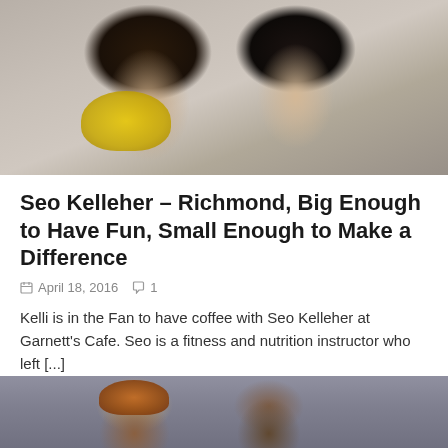[Figure (photo): Two smiling women posing together indoors; one wearing a yellow scarf, both in dark clothing]
Seo Kelleher – Richmond, Big Enough to Have Fun, Small Enough to Make a Difference
April 18, 2016   1
Kelli is in the Fan to have coffee with Seo Kelleher at Garnett's Cafe. Seo is a fitness and nutrition instructor who left [...]
[Figure (photo): Two people standing outdoors on a city street; one wearing an orange head wrap]